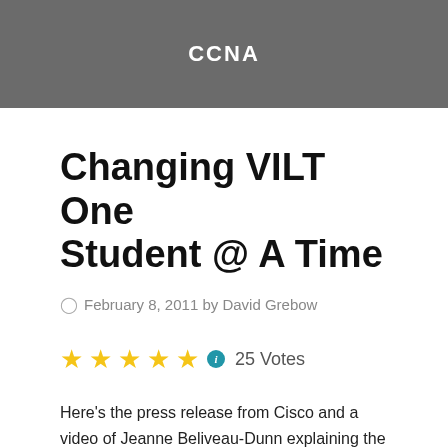CCNA
Changing VILT One Student @ A Time
February 8, 2011 by David Grebow
25 Votes
Here's the press release from Cisco and a video of Jeanne Beliveau-Dunn explaining the importance of the new